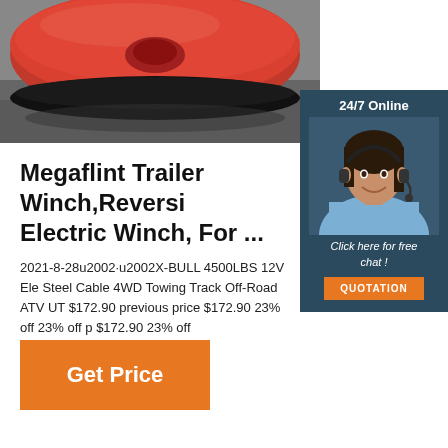[Figure (photo): Close-up photo of a red and black circular winch drum/spool on a gray surface]
[Figure (photo): 24/7 Online chat widget with a female customer service agent wearing a headset, smiling; includes 'Click here for free chat!' text and an orange QUOTATION button]
Megaflint Trailer Winch,Reversi Electric Winch, For ...
2021-8-28u2002·u2002X-BULL 4500LBS 12V Ele Steel Cable 4WD Towing Track Off-Road ATV UT $172.90 previous price $172.90 23% off 23% off p $172.90 23% off
[Figure (other): Orange 'Get Price' button]